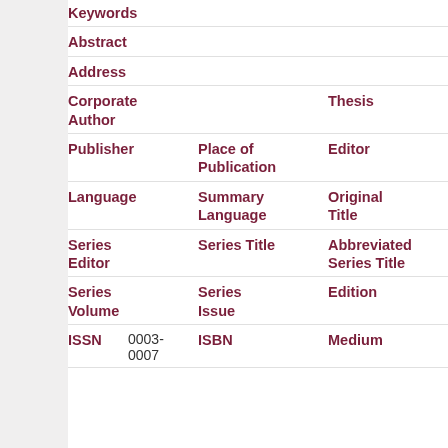| Field1 | Field2 | Field3 |
| --- | --- | --- |
| Keywords |  |  |
| Abstract |  |  |
| Address |  |  |
| Corporate Author |  | Thesis |
| Publisher | Place of Publication | Editor |
| Language | Summary Language | Original Title |
| Series Editor | Series Title | Abbreviated Series Title |
| Series Volume | Series Issue | Edition |
| ISSN | 0003-0007 | ISBN | Medium |